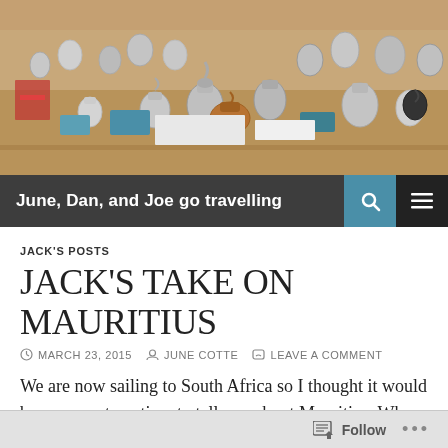[Figure (photo): A market stall displaying many silver and metallic teapots and decorative items on tables and shelves.]
June, Dan, and Joe go travelling
JACK'S POSTS
JACK'S TAKE ON MAURITIUS
MARCH 23, 2015   JUNE COTTE   LEAVE A COMMENT
We are now sailing to South Africa so I thought it would be an opportune time to tell you about Mauritius. When we first got to Mauritius it was very pretty (it was for the rest of the day